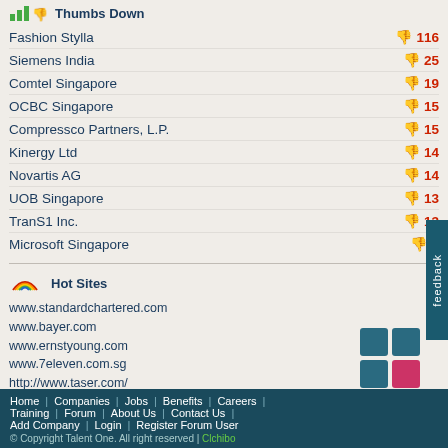Thumbs Down
Fashion Stylla — 116
Siemens India — 25
Comtel Singapore — 19
OCBC Singapore — 15
Compressco Partners, L.P. — 15
Kinergy Ltd — 14
Novartis AG — 14
UOB Singapore — 13
TranS1 Inc. — 13
Microsoft Singapore — 9
Hot Sites
www.standardchartered.com
www.bayer.com
www.ernstyoung.com
www.7eleven.com.sg
http://www.taser.com/
www.bmw.com.sg
www.aig.com.sg
www.basf.com
www.vw.com
http://www.pinnacleminds.com.sg/
Home | Companies | Jobs | Benefits | Careers | Training | Forum | About Us | Contact Us | Add Company | Login | Register Forum User | © Copyright Talent One. All right reserved | Clchibo